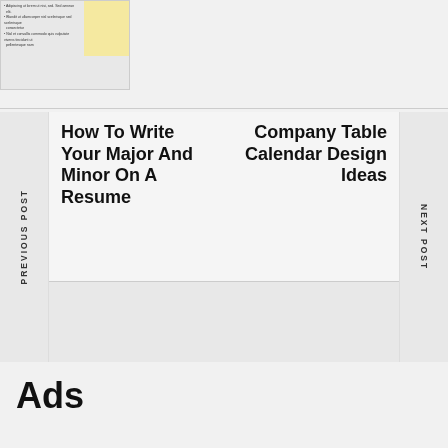[Figure (screenshot): Thumbnail of a document page with yellow section and bullet text]
PREVIOUS POST
How To Write Your Major And Minor On A Resume
Company Table Calendar Design Ideas
NEXT POST
Ads